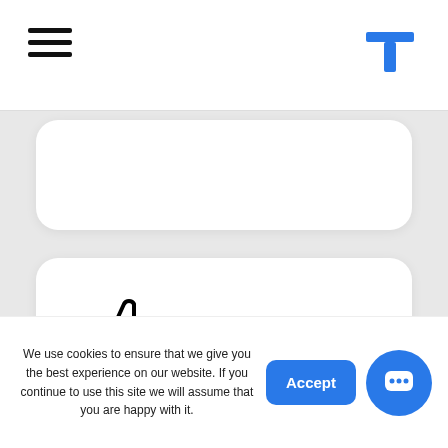[Figure (logo): Hamburger menu icon (three horizontal lines) on the left and a blue T-shaped logo icon on the right, in a white navigation bar]
[Figure (illustration): Partially visible white rounded card at the top of the content area]
[Figure (illustration): Thumbs up icon (like icon) in black outline inside a white rounded card]
Social Media
Having a direct link to your
We use cookies to ensure that we give you the best experience on our website. If you continue to use this site we will assume that you are happy with it.